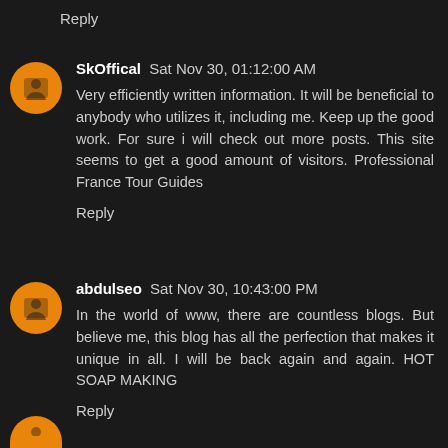Reply
SkOffical  Sat Nov 30, 01:12:00 AM
Very efficiently written information. It will be beneficial to anybody who utilizes it, including me. Keep up the good work. For sure i will check out more posts. This site seems to get a good amount of visitors. Professional France Tour Guides
Reply
abdulseo  Sat Nov 30, 10:43:00 PM
In the world of www, there are countless blogs. But believe me, this blog has all the perfection that makes it unique in all. I will be back again and again. HOT SOAP MAKING
Reply